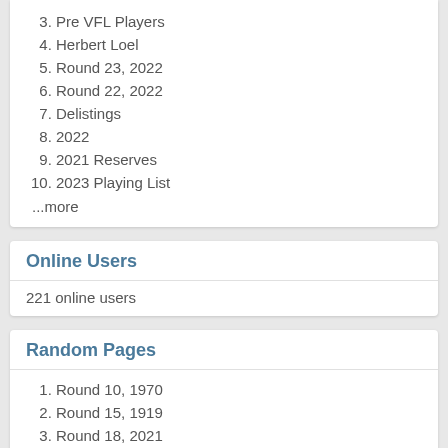3. Pre VFL Players
4. Herbert Loel
5. Round 23, 2022
6. Round 22, 2022
7. Delistings
8. 2022
9. 2021 Reserves
10. 2023 Playing List
...more
Online Users
221 online users
Random Pages
1. Round 10, 1970
2. Round 15, 1919
3. Round 18, 2021
4. Stat Shot: P Rohde
5. Round 1, 1983
6. Round 4, 1931